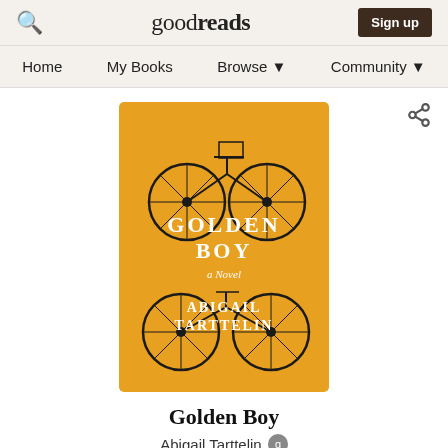goodreads  Sign up
Home  My Books  Browse▼  Community▼
[Figure (illustration): Book cover of 'Golden Boy' by Abigail Tarttelin. Yellow/golden background with black line-art illustration of two bicycles, one stacked above the other. White serif block letters 'GOLDEN BOY' in the upper center, italic script 'a Novel' in the middle, and white serif letters 'ABIGAIL TARTTELIN' at the bottom.]
Golden Boy
Abigail Tarttelin
★★★★☆ 4.10